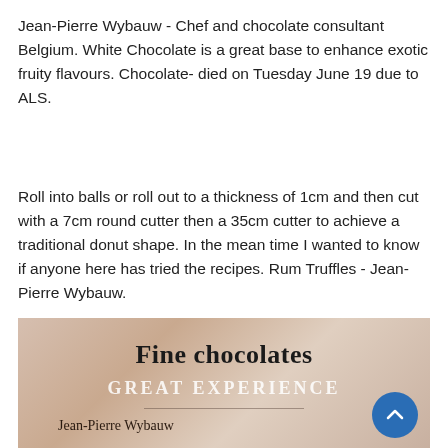Jean-Pierre Wybauw - Chef and chocolate consultant Belgium. White Chocolate is a great base to enhance exotic fruity flavours. Chocolate- died on Tuesday June 19 due to ALS.
Roll into balls or roll out to a thickness of 1cm and then cut with a 7cm round cutter then a 35cm cutter to achieve a traditional donut shape. In the mean time I wanted to know if anyone here has tried the recipes. Rum Truffles - Jean-Pierre Wybauw.
[Figure (photo): Book cover image showing 'Fine chocolates GREAT EXPERIENCE' by Jean-Pierre Wybauw, with a beige/tan background]